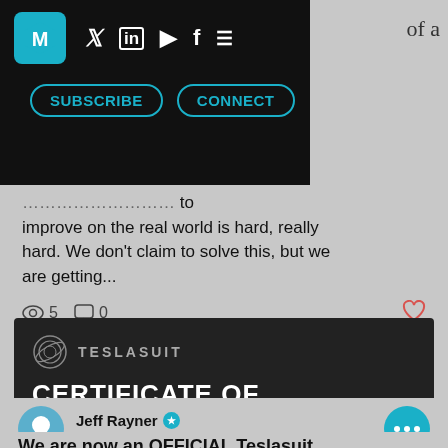[Figure (screenshot): Website navigation bar with logo (M in teal diamond shape), social media icons (Twitter, LinkedIn, YouTube, Facebook), hamburger menu, SUBSCRIBE and CONNECT teal-bordered buttons on black background]
...to improve on the real world is hard, really hard. We don't claim to solve this, but we are getting...
5   0   ♡
[Figure (screenshot): Teslasuit dark card with spiral logo and text TESLASUIT, followed by bold white heading CERTIFICATE OF COMPLETION]
Jeff Rayner ✪
Oct 13, 2021 · 1 min
We are now an OFFICIAL Teslasuit